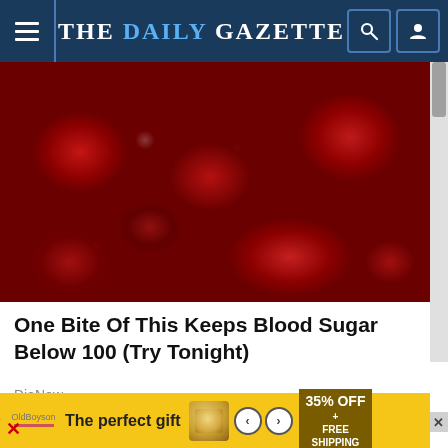THE DAILY GAZETTE
[Figure (photo): Close-up photo of glossy dark red dates or similar dried fruit with shiny surfaces]
One Bite Of This Keeps Blood Sugar Below 100 (Try Tonight)
DiaNow
[Figure (photo): Advertisement banner with woman's face and yellow background, showing a product promotion]
[Figure (infographic): Advertisement banner: 'The perfect gift' with product carousel showing food item, navigation arrows, and '35% OFF + FREE SHIPPING' promo]